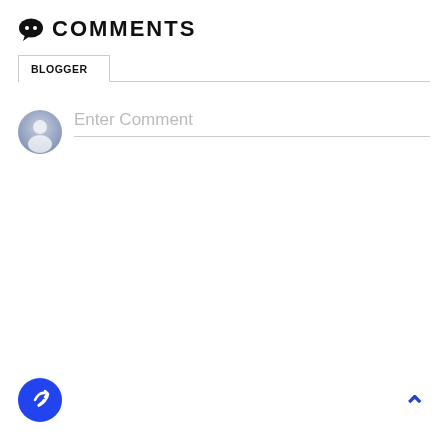COMMENTS
BLOGGER
[Figure (screenshot): Comment input area with a gray avatar icon on the left and 'Enter Comment' placeholder text with a bottom border line on the right]
[Figure (other): Blue circular button with a white share/forward arrow icon, positioned bottom-left]
[Figure (other): Blue upward chevron/caret arrow icon positioned bottom-right]